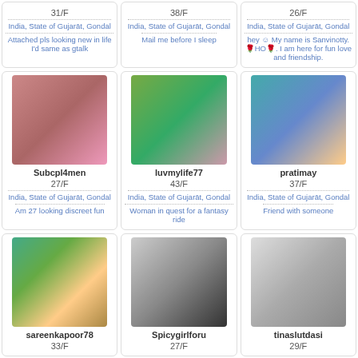31/F
India, State of Gujarāt, Gondal
Attached pls looking new in life I'd same as gtalk
38/F
India, State of Gujarāt, Gondal
Mail me before I sleep
26/F
India, State of Gujarāt, Gondal
hey ☺ My name is Sanvinotty.🌹HO🌹. I am here for fun love and friendship.
[Figure (photo): Profile photo of Subcpl4men]
Subcpl4men
27/F
India, State of Gujarāt, Gondal
Am 27 looking discreet fun
[Figure (photo): Profile photo of luvmylife77]
luvmylife77
43/F
India, State of Gujarāt, Gondal
Woman in quest for a fantasy ride
[Figure (photo): Profile photo of pratimay]
pratimay
37/F
India, State of Gujarāt, Gondal
Friend with someone
[Figure (photo): Profile photo of sareenkapoor78]
sareenkapoor78
33/F
[Figure (photo): Profile photo of Spicygirlforu]
Spicygirlforu
27/F
[Figure (photo): Profile photo of tinaslutdasi]
tinaslutdasi
29/F